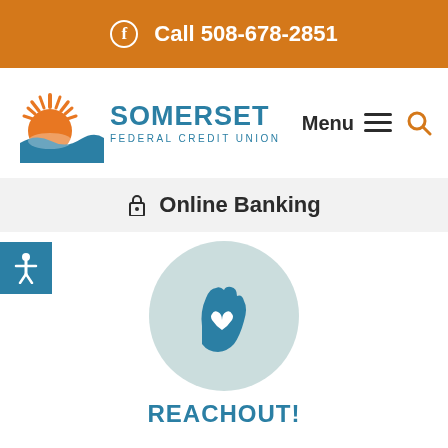Call 508-678-2851
[Figure (logo): Somerset Federal Credit Union logo with sun and wave graphic]
Online Banking
[Figure (illustration): Circular teal background with a hand holding a heart icon, labeled REACHOUT!]
REACHOUT!
Leave a message